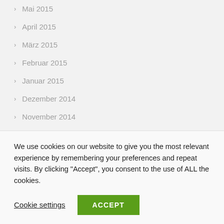Mai 2015
April 2015
März 2015
Februar 2015
Januar 2015
Dezember 2014
November 2014
Oktober 2014
September 2014
August 2014
We use cookies on our website to give you the most relevant experience by remembering your preferences and repeat visits. By clicking "Accept", you consent to the use of ALL the cookies.
Cookie settings
ACCEPT